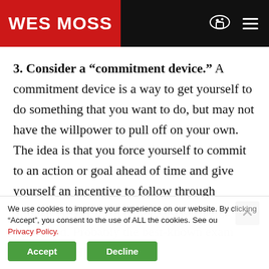WES MOSS
3. Consider a “commitment device.” A commitment device is a way to get yourself to do something that you want to do, but may not have the willpower to pull off on your own. The idea is that you force yourself to commit to an action or goal ahead of time and give yourself an incentive to follow through or make it very difficult for you to change your mind. Probably the best-known example of one is in H... ...dys
We use cookies to improve your experience on our website. By clicking “Accept”, you consent to the use of ALL the cookies. See ou Privacy Policy.